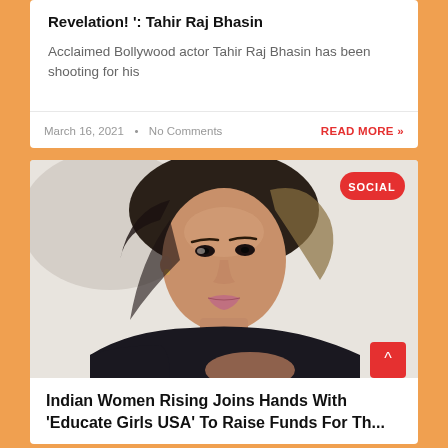Revelation! ': Tahir Raj Bhasin
Acclaimed Bollywood actor Tahir Raj Bhasin has been shooting for his
March 16, 2021  •  No Comments
READ MORE »
[Figure (photo): Portrait of a young woman in a black off-shoulder top against a light background. A red 'SOCIAL' badge in top-right corner. A red scroll-to-top button at bottom-right.]
Indian Women Rising Joins Hands With 'Educate Girls USA' To Raise Funds For Th...